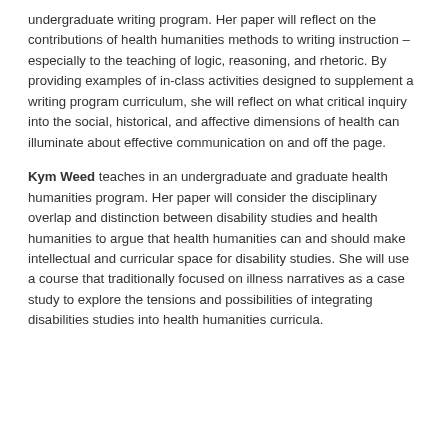undergraduate writing program. Her paper will reflect on the contributions of health humanities methods to writing instruction – especially to the teaching of logic, reasoning, and rhetoric. By providing examples of in-class activities designed to supplement a writing program curriculum, she will reflect on what critical inquiry into the social, historical, and affective dimensions of health can illuminate about effective communication on and off the page.
Kym Weed teaches in an undergraduate and graduate health humanities program. Her paper will consider the disciplinary overlap and distinction between disability studies and health humanities to argue that health humanities can and should make intellectual and curricular space for disability studies. She will use a course that traditionally focused on illness narratives as a case study to explore the tensions and possibilities of integrating disabilities studies into health humanities curricula.